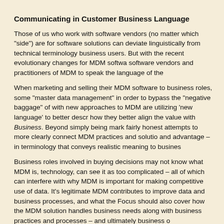Communicating in Customer Business Language
Those of us who work with software vendors (no matter which "side") are for software solutions can deviate linguistically from technical terminology business users. But with the recent evolutionary changes for MDM softwa software vendors and practitioners of MDM to speak the language of the
When marketing and selling their MDM software to business roles, some "master data management" in order to bypass the "negative baggage" of with new approaches to MDM are utilizing 'new language' to better descr how they better align the value with Business. Beyond simply being mark fairly honest attempts to more clearly connect MDM practices and solutio and advantage – in terminology that conveys realistic meaning to busines
Business roles involved in buying decisions may not know what MDM is, technology, can see it as too complicated – all of which can interfere with why MDM is important for making competitive use of data. It's legitimate MDM contributes to improve data and business processes, and what the Focus should also cover how the MDM solution handles business needs along with business practices and processes – and ultimately business o
If MDM software vendors demonstrate clearly how the technologies conn outcomes, it better enlightens prospective customers on the benefits and both in terms of the MDM practice and the supporting technologies. And to uncover business problems to be solved and how data management fi
Obviously there is a danger of over-simplification. MDM implementations technologies, and to institute cultural changes, data governance practice aspects of MDM practices and solutions must be honestly communicate different vendors to more quickly get MDM implementations up-and-runn